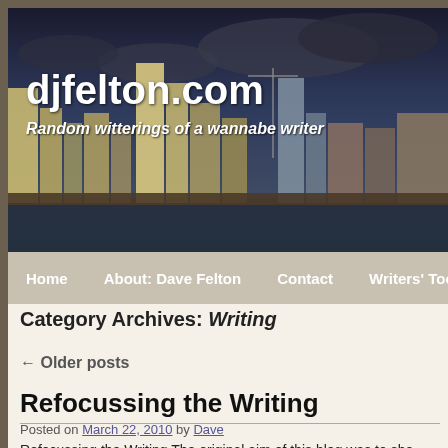[Figure (photo): City skyline banner with dark cloudy sky, waterfront buildings visible. Site header image for djfelton.com.]
djfelton.com
Random witterings of a wannabe writer
Home  About: Dave Felton  Contact  Writers' Toolkit  Arch
Category Archives: Writing
← Older posts
Refocussing the Writing
Posted on March 22, 2010 by Dave
Refocussing the Writing The original aim of this blog was to sho